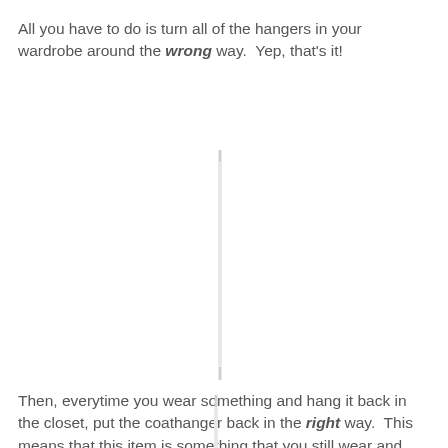All you have to do is turn all of the hangers in your wardrobe around the wrong way.  Yep, that's it!
[Figure (illustration): A white coat hanger shown vertically, facing the wrong way, centered in the middle of the page]
Then, everytime you wear something and hang it back in the closet, put the coathanger back in the right way.  This means that this item is something that you still wear and probably should keep.
[Figure (illustration): A white coat hanger shown partially at the bottom of the page, facing the right way]